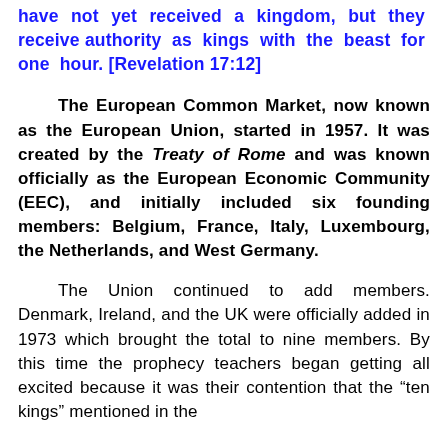have not yet received a kingdom, but they receive authority as kings with the beast for one hour. [Revelation 17:12]
The European Common Market, now known as the European Union, started in 1957. It was created by the Treaty of Rome and was known officially as the European Economic Community (EEC), and initially included six founding members: Belgium, France, Italy, Luxembourg, the Netherlands, and West Germany.
The Union continued to add members. Denmark, Ireland, and the UK were officially added in 1973 which brought the total to nine members. By this time the prophecy teachers began getting all excited because it was their contention that the "ten kings" mentioned in the